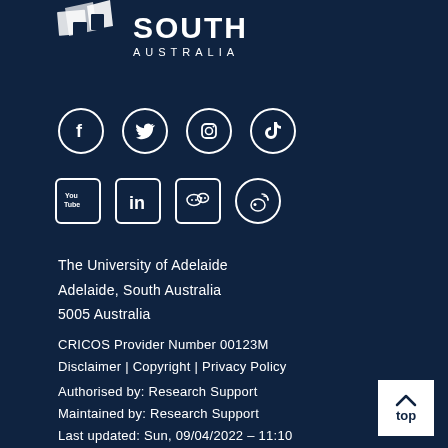[Figure (logo): South Australia brand logo — white stylized house/map icon with 'SOUTH AUSTRALIA' text in white on dark navy background]
[Figure (infographic): Social media icons row 1: Facebook (f), Twitter (bird), Instagram (camera), TikTok (musical note) — white circular outlines]
[Figure (infographic): Social media icons row 2: YouTube (box with You Tube text), LinkedIn (in), WeChat, Weibo — white square/circle outlines]
The University of Adelaide
Adelaide, South Australia
5005 Australia
CRICOS Provider Number 00123M
Disclaimer | Copyright | Privacy Policy
Authorised by: Research Support
Maintained by: Research Support
Last updated: Sun, 09/04/2022 - 11:10